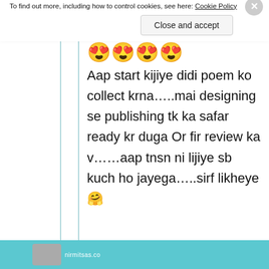am
😍😍😍😍
Aap start kijiye didi poem ko collect krna…..mai designing se publishing tk ka safar ready kr duga Or fir review ka v……aap tnsn ni lijiye sb kuch ho jayega…..sirf likheye🤗
Privacy & Cookies: This site uses cookies. By continuing to use this website, you agree to their use.
To find out more, including how to control cookies, see here: Cookie Policy
Close and accept